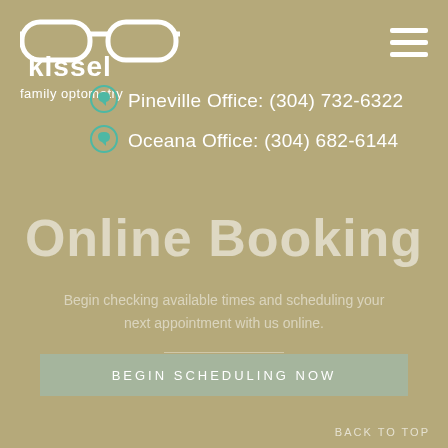[Figure (logo): Kissel Family Optometry logo with eyeglasses icon and text 'kissel family optometry']
Pineville Office: (304) 732-6322
Oceana Office: (304) 682-6144
Online Booking
Begin checking available times and scheduling your next appointment with us online.
BEGIN SCHEDULING NOW
BACK TO TOP